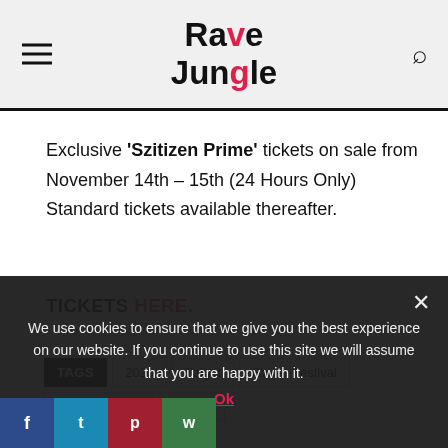Rave Jungle
Exclusive 'Szitizen Prime' tickets on sale from November 14th – 15th (24 Hours Only) Standard tickets available thereafter.
TICKETS HERE.
TAGS 2020 Sziget Sziget Festival Szitizen Prime Tickets
We use cookies to ensure that we give you the best experience on our website. If you continue to use this site we will assume that you are happy with it.
Ok